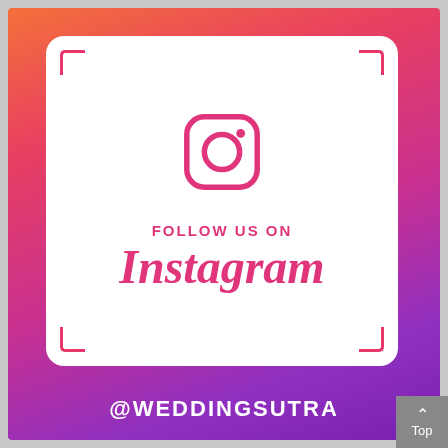[Figure (logo): Instagram follow us card with gradient background (orange to purple), white rounded card with Instagram icon, text 'FOLLOW US ON Instagram' and '@WEDDINGSUTRA' handle. Corner bracket markers on white card.]
FOLLOW US ON
Instagram
@WEDDINGSUTRA